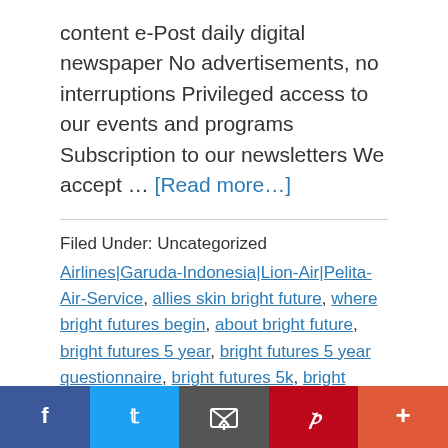content e-Post daily digital newspaper No advertisements, no interruptions Privileged access to our events and programs Subscription to our newsletters We accept … [Read more…]
Filed Under: Uncategorized
Airlines|Garuda-Indonesia|Lion-Air|Pelita-Air-Service, allies skin bright future, where bright futures begin, about bright future, bright futures 5 year, bright futures 5 year questionnaire, bright futures 5k, bright futures 9 month, bright futures 9 year, bright futures 9 month questionnaire, bright futures 9 year questionnaire, bright futures 9 month spanish, bright futures how
[Figure (other): Social sharing bar with Facebook, Twitter, Email, Pinterest, and More (+) buttons]